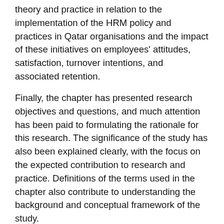theory and practice in relation to the implementation of the HRM policy and practices in Qatar organisations and the impact of these initiatives on employees' attitudes, satisfaction, turnover intentions, and associated retention.
Finally, the chapter has presented research objectives and questions, and much attention has been paid to formulating the rationale for this research. The significance of the study has also been explained clearly, with the focus on the expected contribution to research and practice. Definitions of the terms used in the chapter also contribute to understanding the background and conceptual framework of the study.
References
Afiouni, F, Ruel, H & Schuler, R 2014, 'HRM in the Middle East: toward a greater understanding', The International Journal of Human Resource